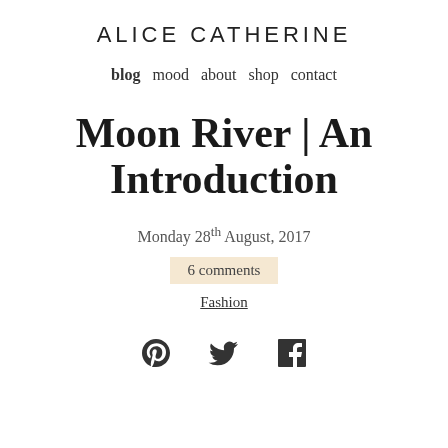ALICE CATHERINE
blog  mood  about  shop  contact
Moon River | An Introduction
Monday 28th August, 2017
6 comments
Fashion
[Figure (other): Social media icons: Pinterest, Twitter, Facebook]